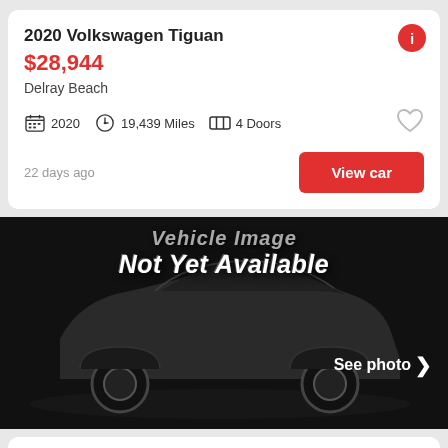2020 Volkswagen Tiguan
$28,944
Delray Beach
2020  19,439 Miles  4 Doors
22 days ago
View car
[Figure (photo): Vehicle image not yet available placeholder showing a dark silhouette of an SUV on a black background with text 'Vehicle Image Not Yet Available' and a 'See photo >' button]
2020 Volkswagen Tiguan